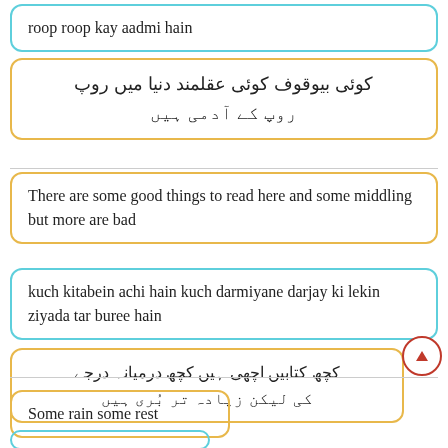roop roop kay aadmi hain
کوئی بیوقوف کوئی عقلمند دنیا میں روپ روپ کے آدمی ہیں
There are some good things to read here and some middling but more are bad
kuch kitabein achi hain kuch darmiyane darjay ki lekin ziyada tar buree hain
کچھ کتابیں اچھی ہیں کچھ درمیانہ درجے کی لیکن زیادہ تر بُری ہیں
Some rain some rest